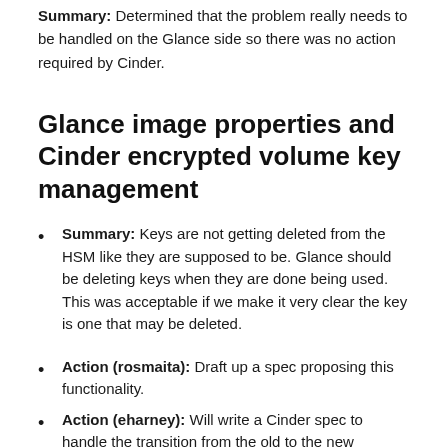Summary: Determined that the problem really needs to be handled on the Glance side so there was no action required by Cinder.
Glance image properties and Cinder encrypted volume key management
Summary: Keys are not getting deleted from the HSM like they are supposed to be. Glance should be deleting keys when they are done being used. This was acceptable if we make it very clear the key is one that may be deleted.
Action (rosmaita): Draft up a spec proposing this functionality.
Action (eharney): Will write a Cinder spec to handle the transition from the old to the new approach of key management.
Encryption key manage on volume